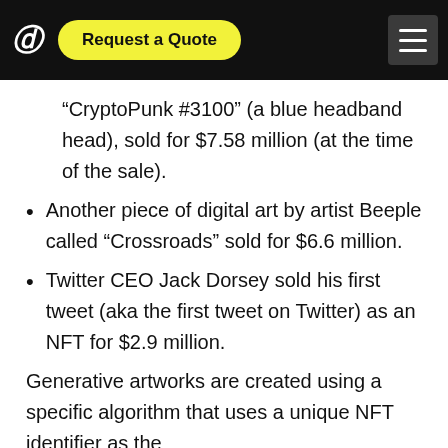Request a Quote
“CryptoPunk #3100” (a blue headband head), sold for $7.58 million (at the time of the sale).
Another piece of digital art by artist Beeple called “Crossroads” sold for $6.6 million.
Twitter CEO Jack Dorsey sold his first tweet (aka the first tweet on Twitter) as an NFT for $2.9 million.
Generative artworks are created using a specific algorithm that uses a unique NFT identifier as the